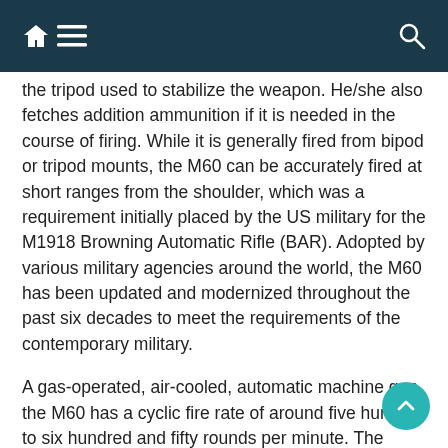[Navigation bar with home, menu, and search icons]
the tripod used to stabilize the weapon. He/she also fetches addition ammunition if it is needed in the course of firing. While it is generally fired from bipod or tripod mounts, the M60 can be accurately fired at short ranges from the shoulder, which was a requirement initially placed by the US military for the M1918 Browning Automatic Rifle (BAR). Adopted by various military agencies around the world, the M60 has been updated and modernized throughout the past six decades to meet the requirements of the contemporary military.
A gas-operated, air-cooled, automatic machine gun, the M60 has a cyclic fire rate of around five hundred to six hundred and fifty rounds per minute. The design of the M60 drew on a number of ubiquitous concepts in firearms design during the post-war period, including sheet metal construction, belt feed, quick barrel replacement, and semi